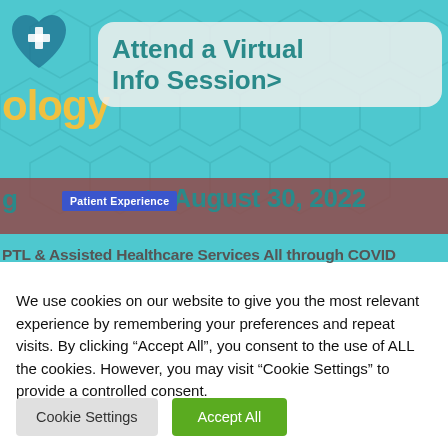[Figure (screenshot): Banner image for a healthcare/nursing program website showing a teal background with hexagon pattern, a heart with medical cross icon, yellow 'ology' text, a rounded rectangle box with 'Attend a Virtual Info Session>' in teal, a red/maroon bar with 'Patient Experience' blue label overlay and date text 'arts August 30, 2022' in teal.]
PTL & Assisted Healthcare Services All through COVID
We use cookies on our website to give you the most relevant experience by remembering your preferences and repeat visits. By clicking “Accept All”, you consent to the use of ALL the cookies. However, you may visit "Cookie Settings" to provide a controlled consent.
Cookie Settings
Accept All